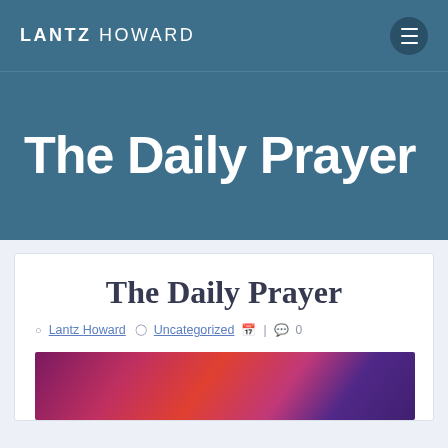LANTZ HOWARD
The Daily Prayer
The Daily Prayer
Lantz Howard  Uncategorized  | 0
[Figure (photo): Colorful sky photo with red and purple tones, partially visible at bottom of page]